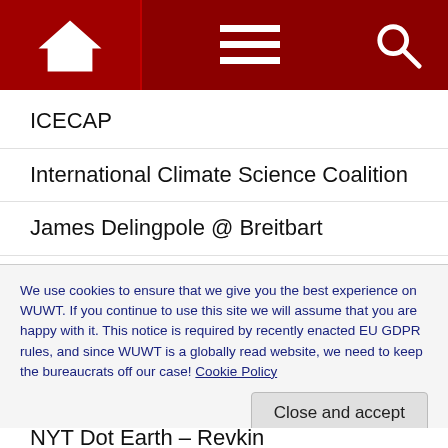Navigation bar with home, menu, and search icons
ICECAP
International Climate Science Coalition
James Delingpole @ Breitbart
Jo Nova
Lucia's The Blackboard
Manhattan Contrarian
Marcel Crok – De staat van het klimaat
Master Resource
We use cookies to ensure that we give you the best experience on WUWT. If you continue to use this site we will assume that you are happy with it. This notice is required by recently enacted EU GDPR rules, and since WUWT is a globally read website, we need to keep the bureaucrats off our case! Cookie Policy
NYT Dot Earth – Revkin